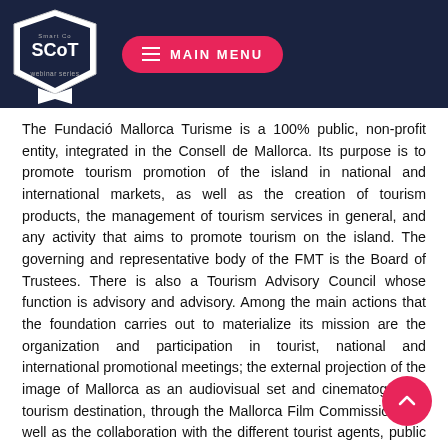[Figure (logo): SCoT webinar series logo badge (white pentagon/ribbon shape on dark navy background) and a pink rounded rectangle button labeled MAIN MENU with hamburger icon]
The Fundació Mallorca Turisme is a 100% public, non-profit entity, integrated in the Consell de Mallorca. Its purpose is to promote tourism promotion of the island in national and international markets, as well as the creation of tourism products, the management of tourism services in general, and any activity that aims to promote tourism on the island. The governing and representative body of the FMT is the Board of Trustees. There is also a Tourism Advisory Council whose function is advisory and advisory. Among the main actions that the foundation carries out to materialize its mission are the organization and participation in tourist, national and international promotional meetings; the external projection of the image of Mallorca as an audiovisual set and cinematographic tourism destination, through the Mallorca Film Commission ; as well as the collaboration with the different tourist agents, public and private, for the coordination of promotion and consolidation actions of the different tourist products.